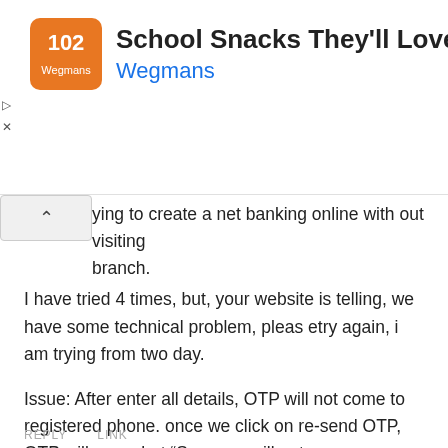[Figure (infographic): Advertisement banner for Wegmans 'School Snacks They'll Love' with orange logo, text, and blue navigation arrow icon]
ying to create a net banking online with out visiting branch.
I have tried 4 times, but, your website is telling, we have some technical problem, pleas etry again, i am trying from two day.
Issue: After enter all details, OTP will not come to registered phone. once we click on re-send OTP, OTP will come but “Sorry we will not process your request now” mesg will display
What’s going on, please fix it.
Thanks
REPLY    LINK